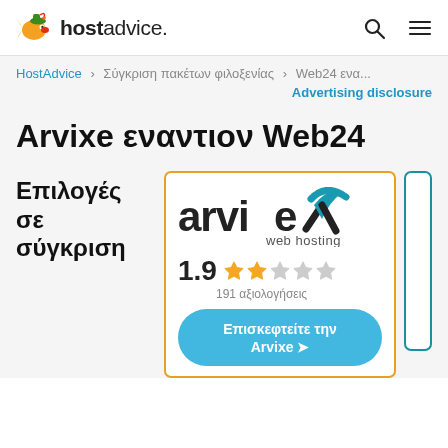hostadvice.
HostAdvice > Σύγκριση πακέτων φιλοξενίας > Web24 ενα...
Advertising disclosure
Arvixe εναντιον Web24
Επιλογές σε σύγκριση
[Figure (logo): Arvixe web hosting logo with rating 1.9 stars (191 αξιολογήσεις) and Visit Arvixe button]
Επισκεφτείτε την Arvixe →